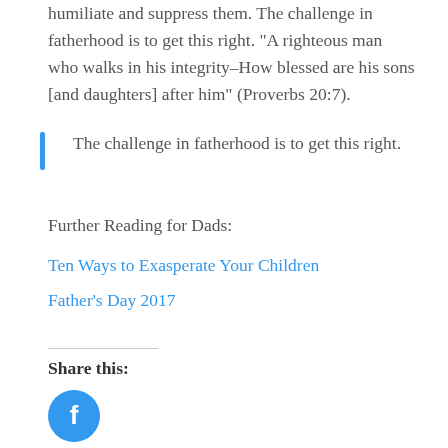humiliate and suppress them. The challenge in fatherhood is to get this right. “A righteous man who walks in his integrity–How blessed are his sons [and daughters] after him” (Proverbs 20:7).
The challenge in fatherhood is to get this right.
Further Reading for Dads:
Ten Ways to Exasperate Your Children
Father’s Day 2017
Share this:
[Figure (other): Facebook share icon button — blue circle with white Facebook 'f' logo]